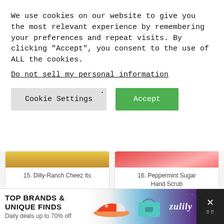We use cookies on our website to give you the most relevant experience by remembering your preferences and repeat visits. By clicking “Accept”, you consent to the use of ALL the cookies.
Do not sell my personal information.
Cookie Settings
Accept
15. Dilly-Ranch Cheez Its
16. Peppermint Sugar Hand Scrub
[Figure (photo): Food image - dessert with strawberries and chocolate sauce on a white plate]
[Figure (photo): Christmas ornament shaped like a snow globe with a baby bottle inside, hanging on a pine tree]
[Figure (infographic): Advertisement banner: TOP BRANDS & UNIQUE FINDS - Daily deals up to 70% off - Zulily]